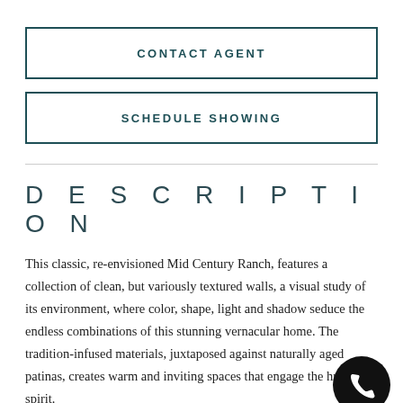CONTACT AGENT
SCHEDULE SHOWING
DESCRIPTION
This classic, re-envisioned Mid Century Ranch, features a collection of clean, but variously textured walls, a visual study of its environment, where color, shape, light and shadow seduce the endless combinations of this stunning vernacular home. The tradition-infused materials, juxtaposed against naturally aged patinas, creates warm and inviting spaces that engage the human spirit.
[Figure (illustration): Black circular phone call button icon in bottom right corner]